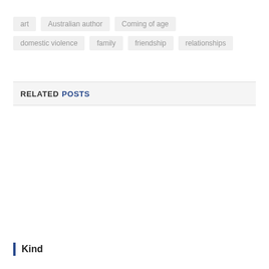art
Australian author
Coming of age
domestic violence
family
friendship
relationships
RELATED POSTS
Kind